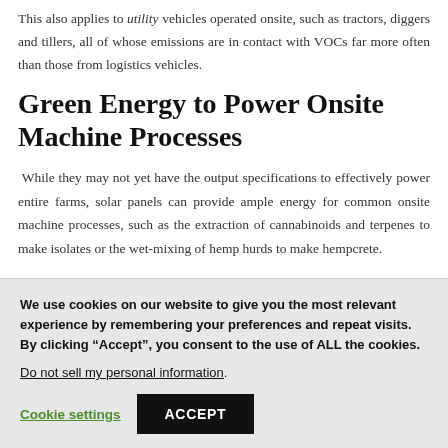This also applies to utility vehicles operated onsite, such as tractors, diggers and tillers, all of whose emissions are in contact with VOCs far more often than those from logistics vehicles.
Green Energy to Power Onsite Machine Processes
While they may not yet have the output specifications to effectively power entire farms, solar panels can provide ample energy for common onsite machine processes, such as the extraction of cannabinoids and terpenes to make isolates or the wet-mixing of hemp hurds to make hempcrete.
We use cookies on our website to give you the most relevant experience by remembering your preferences and repeat visits. By clicking “Accept”, you consent to the use of ALL the cookies.
Do not sell my personal information.
Cookie settings
ACCEPT